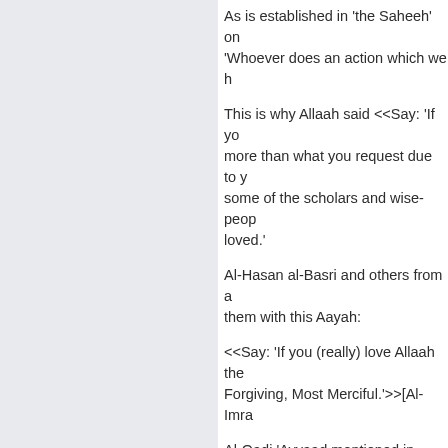As is established in 'the Saheeh' on 'Whoever does an action which we h
This is why Allaah said <<Say: 'If yo more than what you request due to y some of the scholars and wise-peop loved.'
Al-Hasan al-Basri and others from a them with this Aayah:
<<Say: 'If you (really) love Allaah the Forgiving, Most Merciful.'>>[Al-Imra
Al-Qadi 'Ayyaad mentioned in 'Shifa follows it and he follows that which it
So the one who is truthful in his love outwardly manifest; the first of which his Sunnah, following his sayings an follow his character in ease and hard
The proof for this is Allaah's -Ta'ala - following what Allaah legislated abo